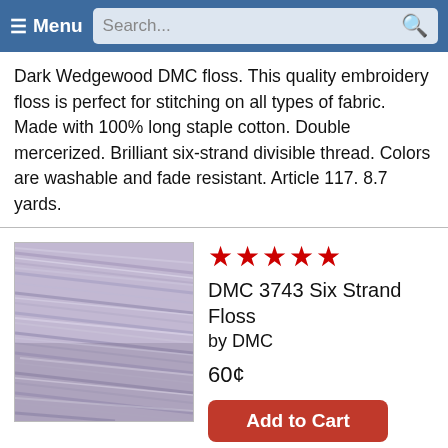Menu | Search
Dark Wedgewood DMC floss. This quality embroidery floss is perfect for stitching on all types of fabric. Made with 100% long staple cotton. Double mercerized. Brilliant six-strand divisible thread. Colors are washable and fade resistant. Article 117. 8.7 yards.
[Figure (photo): Photo of DMC 3743 Six Strand Floss showing light lavender/violet colored thread strands.]
★★★★★ DMC 3743 Six Strand Floss by DMC 60¢
Add to Cart
Add to Wish List
Very Light Antique Violet DMC floss. This quality embroidery floss is perfect for stitching on all types of fabric. Made with 100% long staple cotton. Double mercerized. Brilliant six-strand divisible thread. Colors are washable and fade resistant. Article 117. 8.7